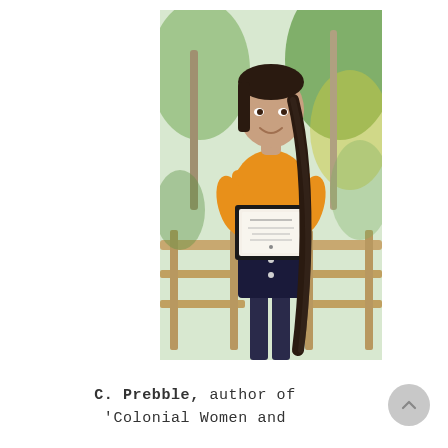[Figure (photo): A young woman with a long dark braid, wearing an orange t-shirt and dark denim skirt, standing on a wooden deck/railing surrounded by trees and green foliage, holding a framed certificate/award.]
C. Prebble, author of 'Colonial Women and